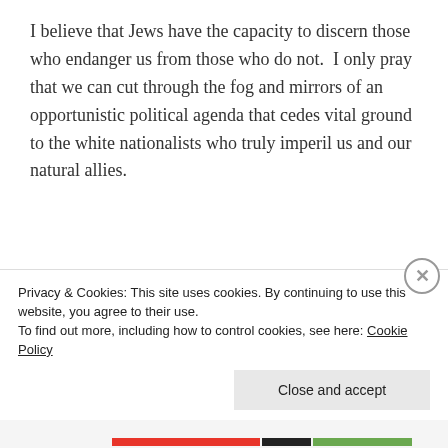I believe that Jews have the capacity to discern those who endanger us from those who do not.  I only pray that we can cut through the fog and mirrors of an opportunistic political agenda that cedes vital ground to the white nationalists who truly imperil us and our natural allies.
Advertisements
[Figure (photo): Advertisement banner with red background showing a smartphone with 'Distrib' text visible, and bold white text reading 'An app by listeners, for listeners.']
Privacy & Cookies: This site uses cookies. By continuing to use this website, you agree to their use.
To find out more, including how to control cookies, see here: Cookie Policy
Close and accept